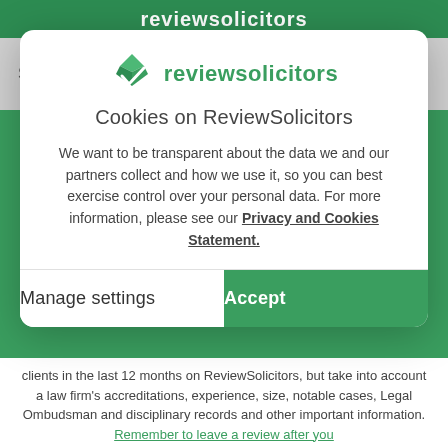reviewsolicitors
Start typing what you need help with
[Figure (logo): ReviewSolicitors logo: green geometric diamond/checkmark icon with text 'reviewsolicitors' in green]
Cookies on ReviewSolicitors
We want to be transparent about the data we and our partners collect and how we use it, so you can best exercise control over your personal data. For more information, please see our Privacy and Cookies Statement.
Manage settings
Accept
clients in the last 12 months on ReviewSolicitors, but take into account a law firm's accreditations, experience, size, notable cases, Legal Ombudsman and disciplinary records and other important information. Remember to leave a review after you...